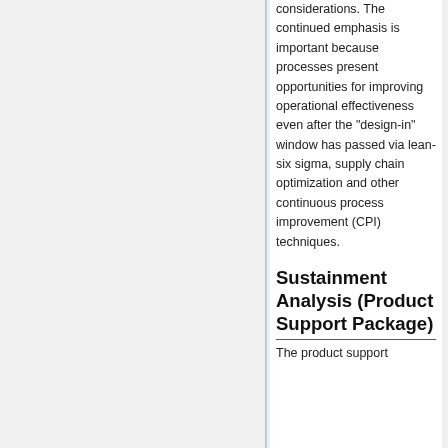considerations. The continued emphasis is important because processes present opportunities for improving operational effectiveness even after the "design-in" window has passed via lean-six sigma, supply chain optimization and other continuous process improvement (CPI) techniques.
Sustainment Analysis (Product Support Package)
The product support